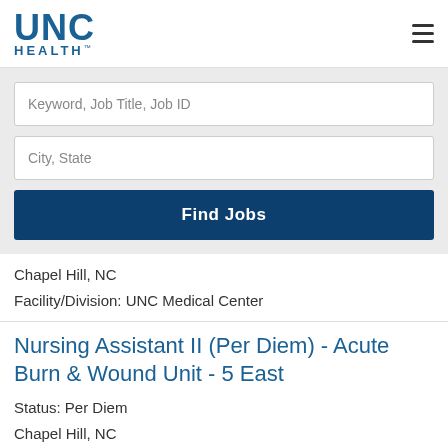[Figure (logo): UNC Health logo — blue UNC text with HEALTH below in spaced capitals]
Chapel Hill, NC
Facility/Division: UNC Medical Center
Nursing Assistant II (Per Diem) - Acute Burn & Wound Unit - 5 East
Status: Per Diem
Chapel Hill, NC
Facility/Division: UNC Medical Center